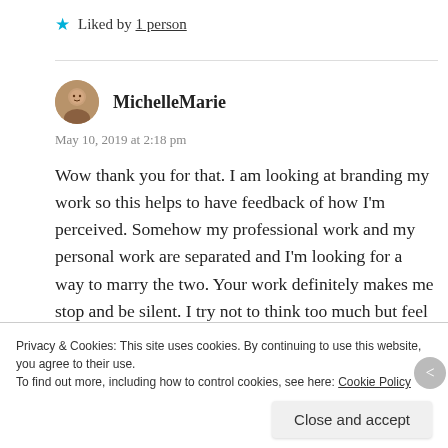★ Liked by 1 person
MichelleMarie
May 10, 2019 at 2:18 pm
Wow thank you for that. I am looking at branding my work so this helps to have feedback of how I'm perceived. Somehow my professional work and my personal work are separated and I'm looking for a way to marry the two. Your work definitely makes me stop and be silent. I try not to think too much but feel my way
Privacy & Cookies: This site uses cookies. By continuing to use this website, you agree to their use.
To find out more, including how to control cookies, see here: Cookie Policy